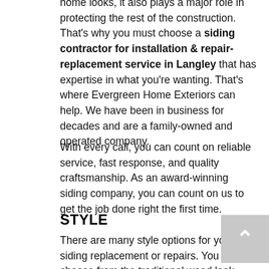home looks, it also plays a major role in protecting the rest of the construction. That's why you must choose a siding contractor for installation & repair-replacement service in Langley that has expertise in what you're wanting. That's where Evergreen Home Exteriors can help. We have been in business for decades and are a family-owned and operated company.
With every call, you can count on reliable service, fast response, and quality craftsmanship. As an award-winning siding company, you can count on us to get the job done right the first time.
STYLE
There are many style options for your siding replacement or repairs. You can choose from the traditional wood look, vinyl siding, or composite. Your technician will go over the various options with you, discuss your goals, and provide you with an